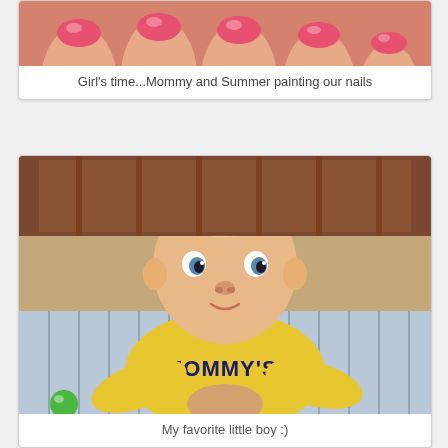[Figure (photo): Cropped photo showing painted fingernails, girl's time painting nails]
Girl's time...Mommy and Summer painting our nails
[Figure (photo): Baby boy in yellow shirt with MOMMY'S text, lying on striped blue blanket, looking at camera]
My favorite little boy :)